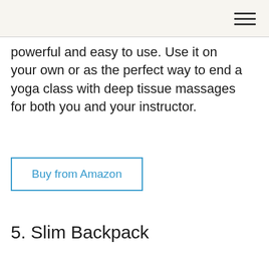☰
powerful and easy to use. Use it on your own or as the perfect way to end a yoga class with deep tissue massages for both you and your instructor.
Buy from Amazon
5. Slim Backpack
[Figure (photo): Top portion of a product photo showing what appears to be a slim backpack]